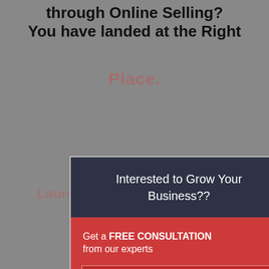through Online Selling? You have landed at the Right Place.
[Figure (screenshot): A modal popup form with dark header 'Interested to Grow Your Business??' on a red background, containing form fields for Name, Phone, Email, and Message, with a close button (x) at top right. Background shows watermark text 'Place.' and 'Launch your Online Business'.]
Interested to Grow Your Business??
Get a FREE CONSULTATION from our experts
Name...
Phone...
Email...
Message